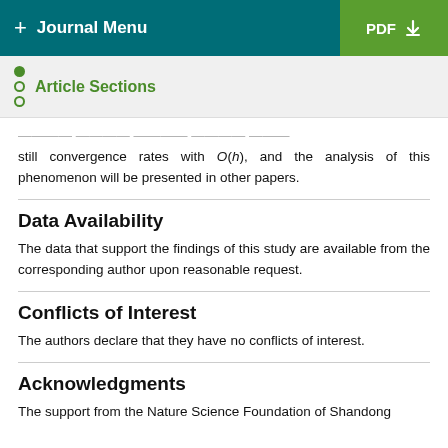+ Journal Menu | PDF
Article Sections
still convergence rates with O(h), and the analysis of this phenomenon will be presented in other papers.
Data Availability
The data that support the findings of this study are available from the corresponding author upon reasonable request.
Conflicts of Interest
The authors declare that they have no conflicts of interest.
Acknowledgments
The support from the Nature Science Foundation of Shandong